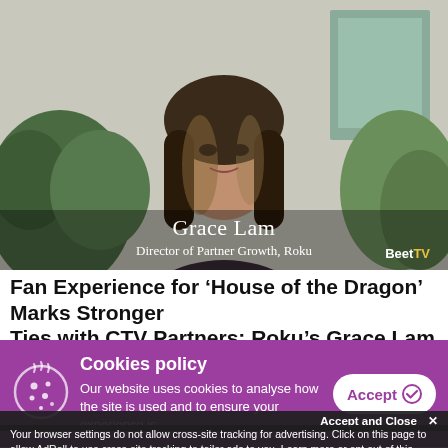[Figure (photo): Video thumbnail showing Grace Lam, Director of Partner Growth at Roku, sitting in front of indoor plants. Lower-third text overlay reads 'Grace Lam / Director of Partner Growth, Roku'. BeetTV logo in bottom-right corner.]
Fan Experience for ‘House of the Dragon’ Marks Stronger Ties with CTV Partners: Roku’s Grace Lam
Cookies policy
Our website uses cookies to analyse how the site is used and to ensure your experience is consistent between visits.
Accept and Close ×
Your browser settings do not allow cross-site tracking for advertising. Click on this page to allow AdRoll to use cross-site tracking to tailor ads to you. Learn more or opt out of this AdRoll tracking by clicking here. This message only appears once.